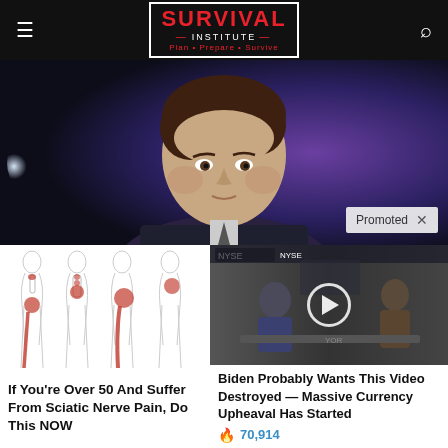SURVIVAL INSTITUTE — Plan · Prepare · Survive
[Figure (photo): Close-up photo of a man in a dark suit against a blurred blue/purple background. Promoted badge visible in lower right corner.]
[Figure (photo): Medical illustration showing sciatic nerve pain in human body silhouettes with red highlighted pain areas along spine and legs.]
If You're Over 50 And Suffer From Sciatic Nerve Pain, Do This NOW
[Figure (screenshot): Video thumbnail showing two men in a TV studio setting (NYSE visible in background) with a circular play button overlay.]
Biden Probably Wants This Video Destroyed — Massive Currency Upheaval Has Started
🔥 70,914